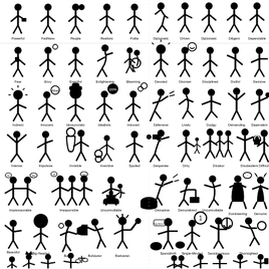[Figure (illustration): A large grid of black stick figure pictograms illustrating various human personality traits and character descriptions. Left column includes traits such as Powerful, Faithless, People, Realistic, Polite, Fear, Envy, Eventful, Enlightening, Elearning, Indirect, Innocent, Idiosyncratic, Idealistic, Introvert, Intense, Impulsive, Invisible, Inventive, Spoiled, Impressionable, Irresponsible, Uncontrollable, Beautiful, Big-Headed, Bossy, Bulldozer, Barbarian. Right column includes traits such as Diplomatic, Driven, Diplomatic, Diligent, Dependable, Devoted, Discreet, Disciplined, Dutiful, Decisive, Defensive, Lively, Dodgy, Demanding, Dependent, Desperate, Dirty, Dictator, Disobedient, Difficult, Disruptive, Demoralized, Uncontrollable, Domineering, Demonic, Spendthrift, Single-Minded, Sanctimonious, Shortsighted, and more at the bottom row.]